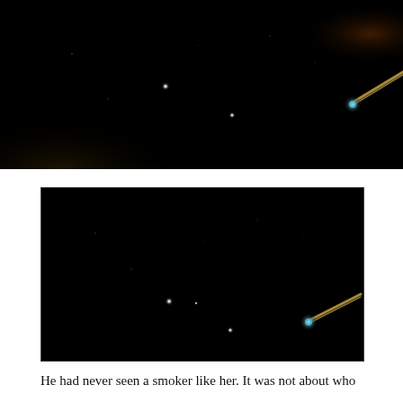[Figure (photo): Dark night sky photo showing faint points of light and a bright streak of light in the upper right corner, possibly a meteor or aircraft light trail.]
[Figure (photo): Nearly identical dark night sky photo with faint points of light and a bright glowing streak in the lower right, appearing to be the same scene as the top image.]
He had never seen a smoker like her. It was not about who